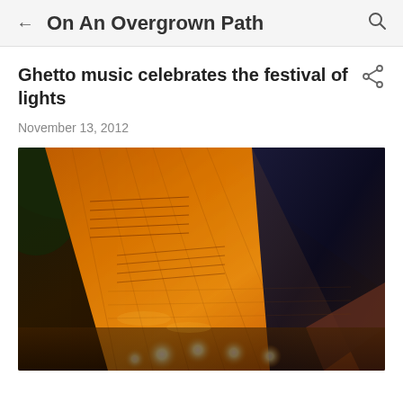On An Overgrown Path
Ghetto music celebrates the festival of lights
November 13, 2012
[Figure (photo): Close-up photograph of what appears to be illuminated fabric or sheet music with orange/amber lighting and candle lights visible at the bottom, with dark blue/black fabric in the background]